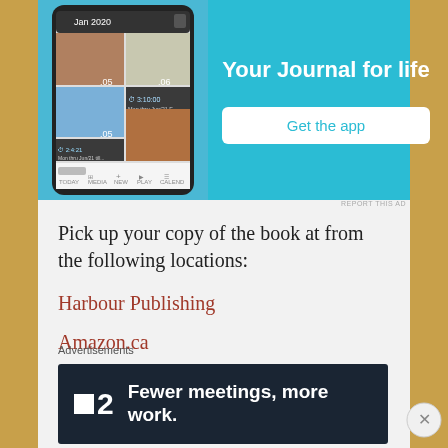[Figure (screenshot): Advertisement banner showing a phone app mockup on the left with a blue background and 'Your Journal for life' text and 'Get the app' button on the right.]
REPORT THIS AD
Pick up your copy of the book at from the following locations:
Harbour Publishing
Amazon.ca
Kobo Ebook
Advertisements
[Figure (screenshot): Dark advertisement banner reading 'Fewer meetings, more work.' with a logo showing a small white square and the number 2.]